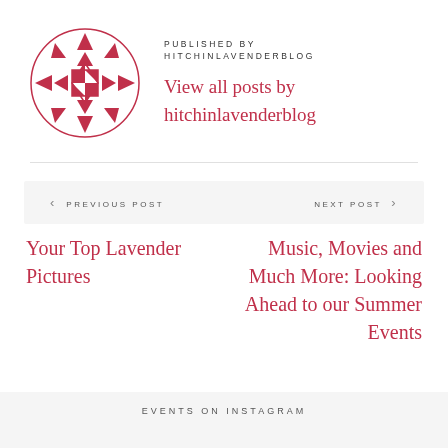[Figure (logo): Circular quilt-pattern logo in dark pink/crimson with geometric diamond and triangle shapes arranged in a decorative medallion pattern]
PUBLISHED BY
HITCHINLAVENDERBLOG
View all posts by hitchinlavenderblog
‹ PREVIOUS POST
NEXT POST ›
Your Top Lavender Pictures
Music, Movies and Much More: Looking Ahead to our Summer Events
EVENTS ON INSTAGRAM